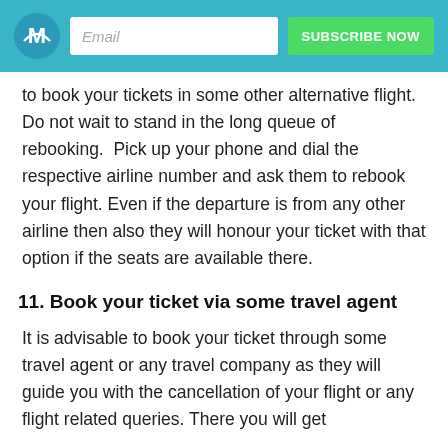Email | SUBSCRIBE NOW
to book your tickets in some other alternative flight. Do not wait to stand in the long queue of rebooking.  Pick up your phone and dial the respective airline number and ask them to rebook your flight. Even if the departure is from any other airline then also they will honour your ticket with that option if the seats are available there.
11. Book your ticket via some travel agent
It is advisable to book your ticket through some travel agent or any travel company as they will guide you with the cancellation of your flight or any flight related queries. There you will get